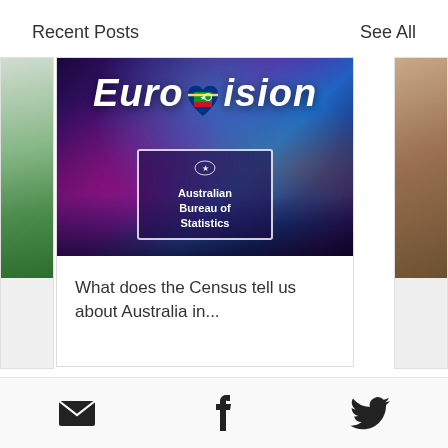Recent Posts    See All
[Figure (screenshot): Eurovision logo with Australian Bureau of Statistics badge overlaid on a concert crowd with purple/blue stage lighting]
What does the Census tell us about Australia in...
[Figure (other): Carousel navigation dots — one filled (active), two grey]
Email icon, Facebook icon, Twitter icon